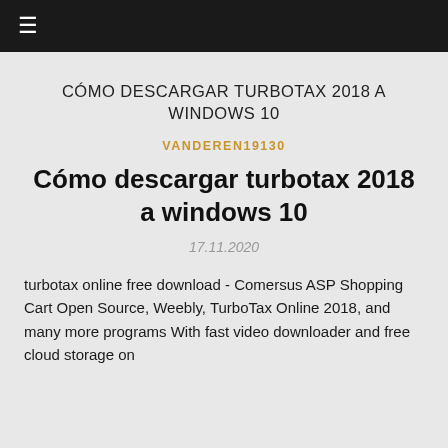≡
CÓMO DESCARGAR TURBOTAX 2018 A WINDOWS 10
VANDEREN19130
Cómo descargar turbotax 2018 a windows 10
17.11.2020
turbotax online free download - Comersus ASP Shopping Cart Open Source, Weebly, TurboTax Online 2018, and many more programs With fast video downloader and free cloud storage on